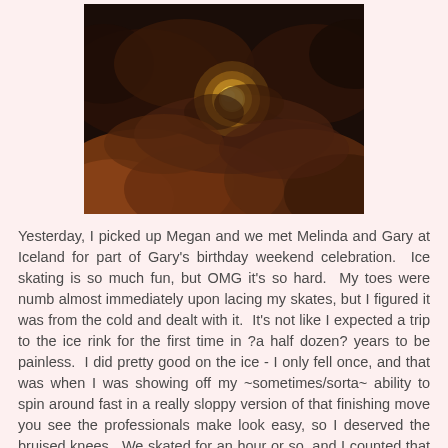[Figure (photo): A dark nighttime sky photograph showing a golden moon partially obscured by dark clouds, with warm orange and brown tones throughout.]
Yesterday, I picked up Megan and we met Melinda and Gary at Iceland for part of Gary's birthday weekend celebration.  Ice skating is so much fun, but OMG it's so hard.  My toes were numb almost immediately upon lacing my skates, but I figured it was from the cold and dealt with it.  It's not like I expected a trip to the ice rink for the first time in ?a half dozen? years to be painless.  I did pretty good on the ice - I only fell once, and that was when I was showing off my ~sometimes/sorta~ ability to spin around fast in a really sloppy version of that finishing move you see the professionals make look easy, so I deserved the bruised knees.  We skated for an hour or so, and I counted that as my exercise for Friday and Saturday, as I did nothing remotely physical on Friday.  Here's a picture of my butt: